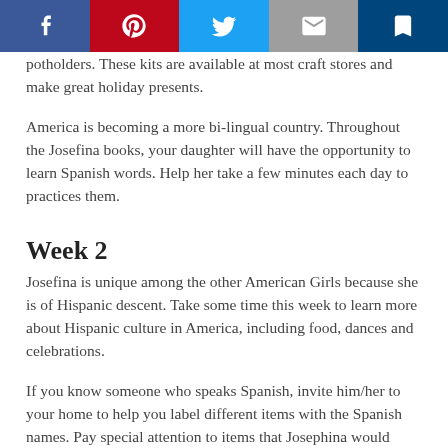[Figure (other): Social sharing bar with Facebook, Pinterest, Twitter, Email, and Save buttons]
potholders. These kits are available at most craft stores and make great holiday presents.
America is becoming a more bi-lingual country. Throughout the Josefina books, your daughter will have the opportunity to learn Spanish words. Help her take a few minutes each day to practices them.
Week 2
Josefina is unique among the other American Girls because she is of Hispanic descent. Take some time this week to learn more about Hispanic culture in America, including food, dances and celebrations.
If you know someone who speaks Spanish, invite him/her to your home to help you label different items with the Spanish names. Pay special attention to items that Josephina would have had, too, like “dress,” “scissors,” etc.